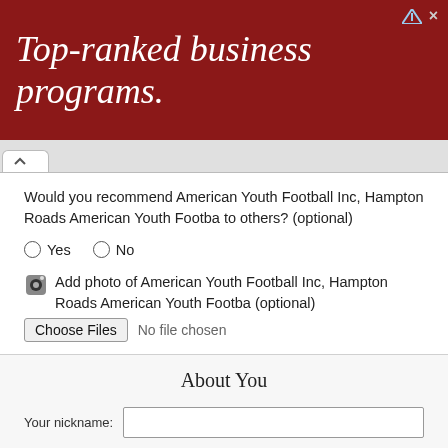[Figure (screenshot): Red advertisement banner reading 'Top-ranked business programs.' in white italic serif text, with a small icon and close button in the top-right corner.]
Would you recommend American Youth Football Inc, Hampton Roads American Youth Footba to others? (optional)
Yes
No
Add photo of American Youth Football Inc, Hampton Roads American Youth Footba (optional)
Choose Files  No file chosen
About You
Your nickname:
I have read, and agree to the Terms of Service
Optional Verification
(additional info to increase the weight and the placement of your reviews and ratings